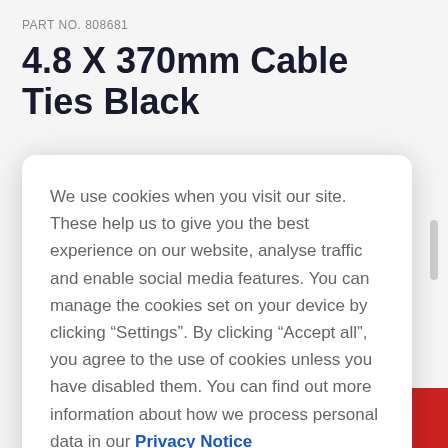PART NO. 808681
4.8 X 370mm Cable Ties Black
We use cookies when you visit our site. These help us to give you the best experience on our website, analyse traffic and enable social media features. You can manage the cookies set on your device by clicking “Settings”. By clicking “Accept all”, you agree to the use of cookies unless you have disabled them. You can find out more information about how we process personal data in our Privacy Notice
ACCEPT ALL
SETTINGS